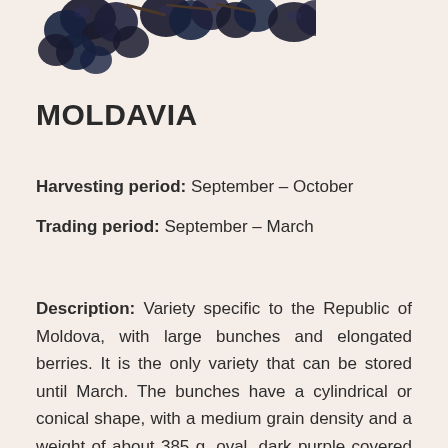[Figure (photo): Cluster of dark purple/black grapes partially visible at the top of the page]
MOLDAVIA
Harvesting period: September – October
Trading period: September – March
Description: Variety specific to the Republic of Moldova, with large bunches and elongated berries. It is the only variety that can be stored until March. The bunches have a cylindrical or conical shape, with a medium grain density and a weight of about 385 g, oval, dark purple covered with a pronounced layer of bloom. The skin is usually thick, dense